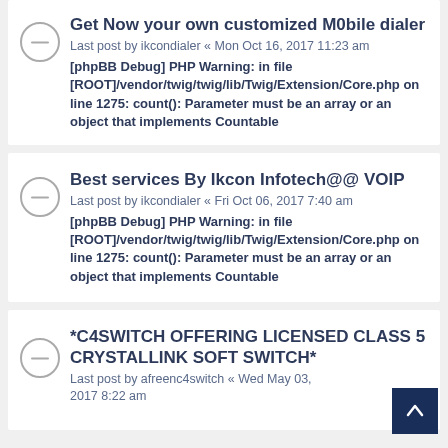Get Now your own customized M0bile dialer
Last post by ikcondialer « Mon Oct 16, 2017 11:23 am
[phpBB Debug] PHP Warning: in file [ROOT]/vendor/twig/twig/lib/Twig/Extension/Core.php on line 1275: count(): Parameter must be an array or an object that implements Countable
Best services By Ikcon Infotech@@ VOIP
Last post by ikcondialer « Fri Oct 06, 2017 7:40 am
[phpBB Debug] PHP Warning: in file [ROOT]/vendor/twig/twig/lib/Twig/Extension/Core.php on line 1275: count(): Parameter must be an array or an object that implements Countable
*C4SWITCH OFFERING LICENSED CLASS 5 CRYSTALLINK SOFT SWITCH*
Last post by afreenc4switch « Wed May 03, 2017 8:22 am